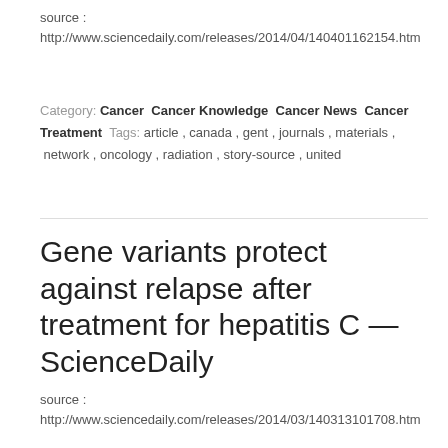source : http://www.sciencedaily.com/releases/2014/04/140401162154.htm
Category: Cancer  Cancer Knowledge  Cancer News  Cancer Treatment Tags: article , canada , gent , journals , materials , network , oncology , radiation , story-source , united
Gene variants protect against relapse after treatment for hepatitis C — ScienceDaily
source : http://www.sciencedaily.com/releases/2014/03/140313101708.htm